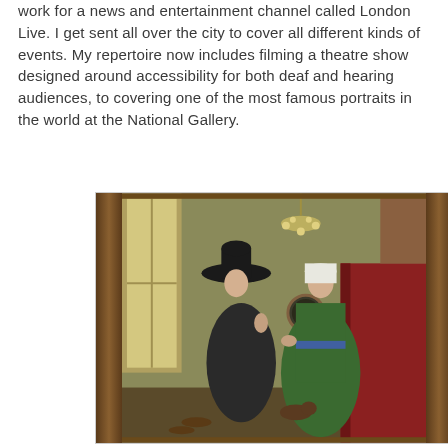work for a news and entertainment channel called London Live. I get sent all over the city to cover all different kinds of events. My repertoire now includes filming a theatre show designed around accessibility for both deaf and hearing audiences, to covering one of the most famous portraits in the world at the National Gallery.
[Figure (illustration): The Arnolfini Portrait by Jan van Eyck, showing a man in a large black hat and a woman in a green dress holding hands in an interior room, displayed in an ornate wooden frame at the National Gallery.]